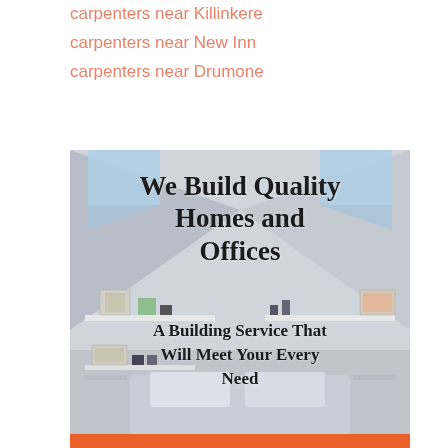carpenters near Killinkere
carpenters near New Inn
carpenters near Drumone
[Figure (photo): Interior photo of an attic bedroom/room with white walls, sloped ceiling with skylights, white shelving units with framed pictures and plants, a bed with pillows, overlaid with bold text reading 'We Build Quality Homes and Offices' and 'A Building Service That Will Meet Your Every Need']
We Build Quality Homes and Offices
A Building Service That Will Meet Your Every Need